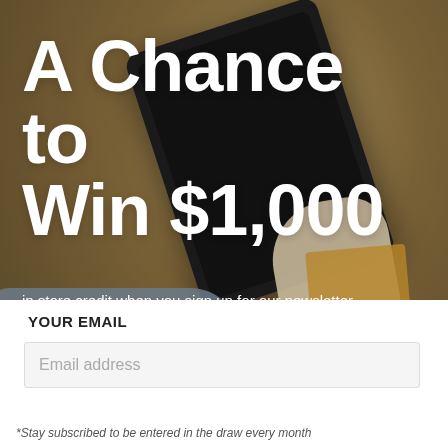[Figure (photo): Person sitting in a cozy chair holding a tablet/iPad, wearing jeans and a light sweater, with a wooden tablet stand nearby. Warm golden-brown tones throughout.]
A Chance to Win $1,000
in store credit when you sign up for our newsletter. Receive mail (sneak peeks, community updates, and more) you'll actually want to read.
YOUR EMAIL
Email address
*Stay subscribed to be entered in the draw every month